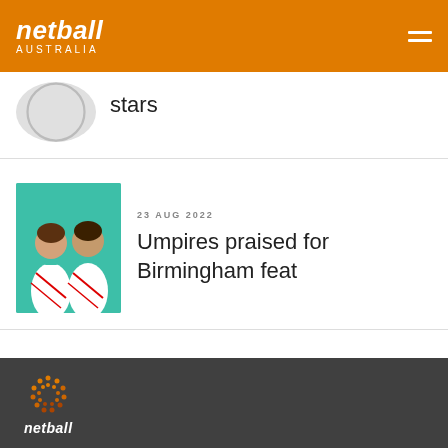netball AUSTRALIA
stars
23 AUG 2022
Umpires praised for Birmingham feat
[Figure (photo): Two people in white netball uniforms with teal trim, posing against a teal background]
netball